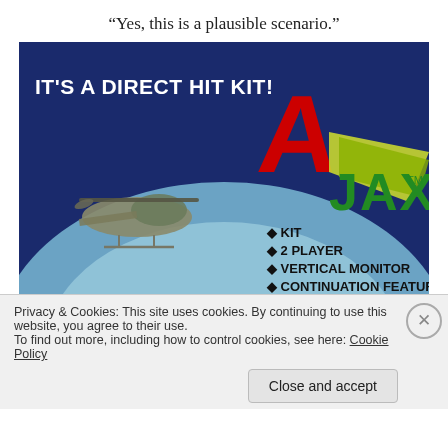“Yes, this is a plausible scenario.”
[Figure (illustration): Ajax arcade game advertisement. Dark blue background. Bold white text top-left reads 'IT'S A DIRECT HIT KIT!'. Large red letter A with yellow/green 'JAX' logo with TM mark. Military helicopter on left side. Bullet list: KIT, 2 PLAYER, VERTICAL MONITOR, CONTINUATION FEATURE.]
Privacy & Cookies: This site uses cookies. By continuing to use this website, you agree to their use.
To find out more, including how to control cookies, see here: Cookie Policy
Close and accept